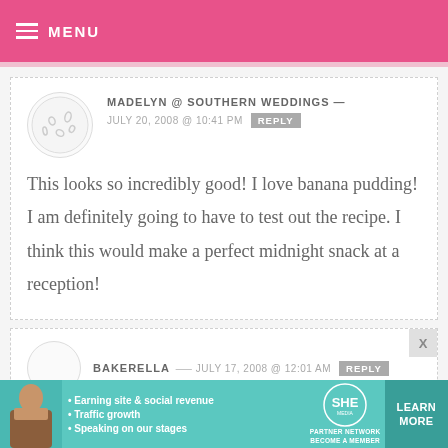MENU
MADELYN @ SOUTHERN WEDDINGS — JULY 20, 2008 @ 10:41 PM REPLY
This looks so incredibly good! I love banana pudding! I am definitely going to have to test out the recipe. I think this would make a perfect midnight snack at a reception!
BAKERELLA — JULY 17, 2008 @ 12:01 AM REPLY
[Figure (infographic): SHE Partner Network advertisement banner: woman photo, bullet points about earning site & social revenue, traffic growth, speaking on stages; SHE Partner Network logo; Learn More button]